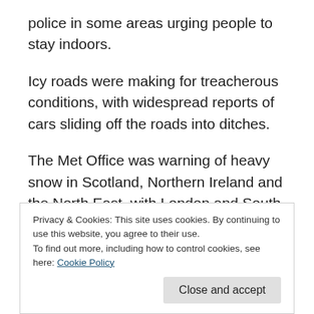police in some areas urging people to stay indoors.
Icy roads were making for treacherous conditions, with widespread reports of cars sliding off the roads into ditches.
The Met Office was warning of heavy snow in Scotland, Northern Ireland and the North East, with London and South East England also under threat.
Overnight temperatures across the UK plunged well below zero again, after a day when much of the country was badly
Privacy & Cookies: This site uses cookies. By continuing to use this website, you agree to their use.
To find out more, including how to control cookies, see here: Cookie Policy
Close and accept